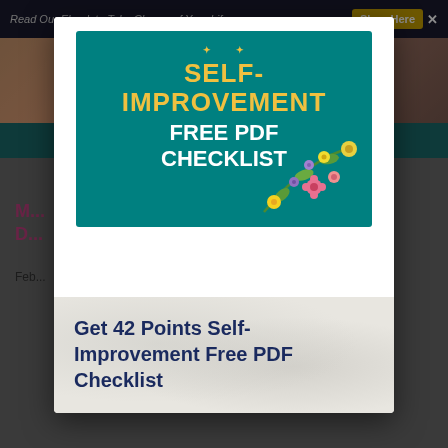Read Our Ebook to Take Charge of Your Life.
Shop Here
[Figure (screenshot): Background webpage with reddish-brown photo strip and teal navigation bar]
M... D...
Feb...
[Figure (illustration): Modal popup showing a Self-Improvement Free PDF Checklist book cover on teal background with floral decorations]
Get 42 Points Self-Improvement Free PDF Checklist